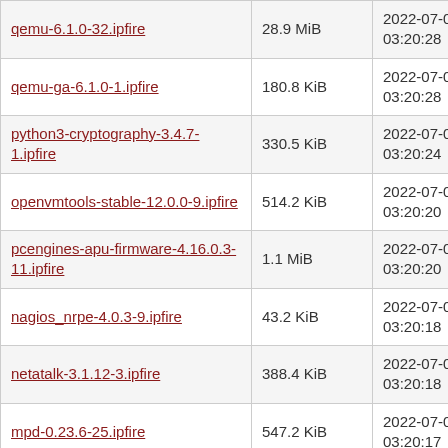| qemu-6.1.0-32.ipfire | 28.9 MiB | 2022-07-08 03:20:28 |
| qemu-ga-6.1.0-1.ipfire | 180.8 KiB | 2022-07-08 03:20:28 |
| python3-cryptography-3.4.7-1.ipfire | 330.5 KiB | 2022-07-08 03:20:24 |
| openvmtools-stable-12.0.0-9.ipfire | 514.2 KiB | 2022-07-08 03:20:20 |
| pcengines-apu-firmware-4.16.0.3-11.ipfire | 1.1 MiB | 2022-07-08 03:20:20 |
| nagios_nrpe-4.0.3-9.ipfire | 43.2 KiB | 2022-07-08 03:20:18 |
| netatalk-3.1.12-3.ipfire | 388.4 KiB | 2022-07-08 03:20:18 |
| mpd-0.23.6-25.ipfire | 547.2 KiB | 2022-07-08 03:20:17 |
| iperf-2.0.14a-5.ipfire | 72.7 KiB | 2022-07-08 03:19:50 |
| htop-3.1.2-18.ipfire | 100.2 KiB | 2022-07-08 03:19:48 |
| haproxy-2.5.5-21.ipfire | 1004.2 KiB | 2022-07-08 03:19:47 |